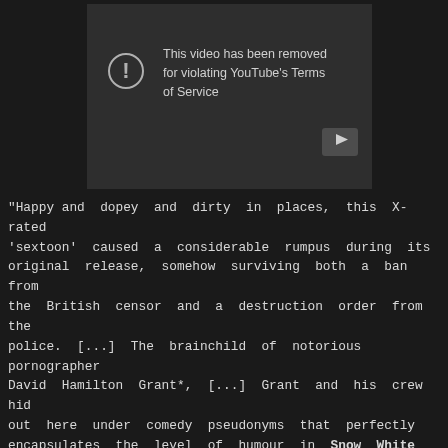[Figure (screenshot): YouTube video player showing error message: 'This video has been removed for violating YouTube's Terms of Service', with a play button icon in the bottom right corner.]
"Happy and dopey and dirty in places, this X-rated 'sextoon' caused a considerable rumpus during its original release, somehow surviving both a ban from the British censor and a destruction order from the police. [...] The brainchild of notorious pornographer David Hamilton Grant*, [...] Grant and his crew hid out here under comedy pseudonyms that perfectly encapsulates the level of humour in Snow White and the Seven Perverts 'written by Rinkus O'Penis', 'Edited by Jack Von Ripper'. [...] Grant's take on Snow White and the Seven Dwarfs sees the big boobed Snow White escape